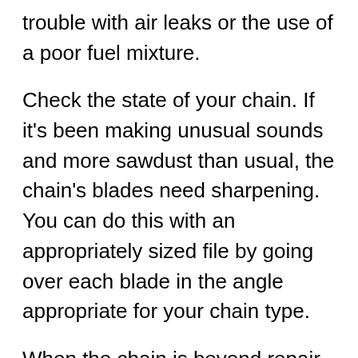trouble with air leaks or the use of a poor fuel mixture.
Check the state of your chain. If it's been making unusual sounds and more sawdust than usual, the chain's blades need sharpening. You can do this with an appropriately sized file by going over each blade in the angle appropriate for your chain type.
When the chain is beyond repair, it will need a replacement. Brand new chains will need to be tensioned to fit tightly onto the bar by tightening the tension screw. A chain should also be both clean and lubricated. Cleaning will involve soaking the chain in solvent and